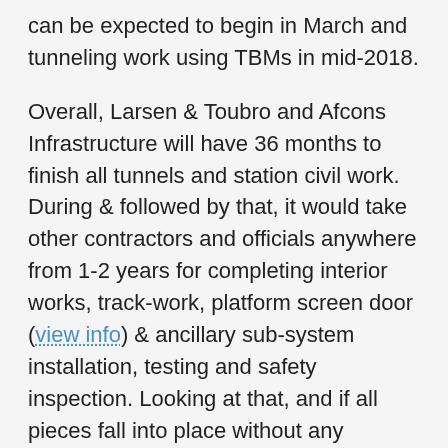can be expected to begin in March and tunneling work using TBMs in mid-2018.
Overall, Larsen & Toubro and Afcons Infrastructure will have 36 months to finish all tunnels and station civil work. During & followed by that, it would take other contractors and officials anywhere from 1-2 years for completing interior works, track-work, platform screen door (view info) & ancillary sub-system installation, testing and safety inspection. Looking at that, and if all pieces fall into place without any significant delays, then the earliest I expect this section to open up for commercial operations would be early 2022.
In other news, within a week, MEGA will open the financial bids for the remaining 2 packages of the 39.259 km Phase 1 project: